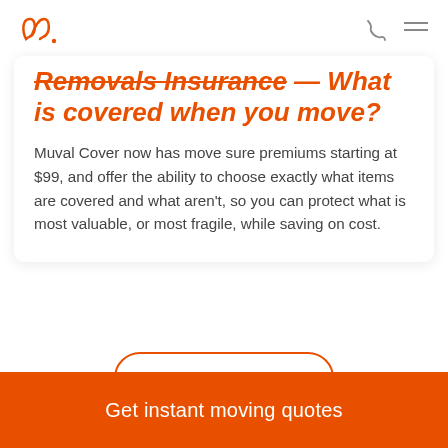[Figure (logo): Muval logo: orange cursive double-loop with dot]
Removals Insurance — What is covered when you move?
Muval Cover now has move sure premiums starting at $99, and offer the ability to choose exactly what items are covered and what aren't, so you can protect what is most valuable, or most fragile, while saving on cost.
See all articles
Get instant moving quotes